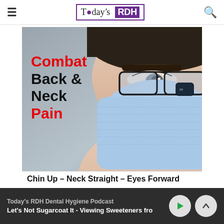Today's RDH
[Figure (photo): Close-up photo of a dental hygienist wearing surgical loupes with LED light, a blue surgical mask, and safety glasses. Overlaid text reads 'Combat Back & Neck Pain' in red and black bold font.]
Chin Up – Neck Straight – Eyes Forward
Today's RDH Dental Hygiene Podcast
Let's Not Sugarcoat It - Viewing Sweeteners from...